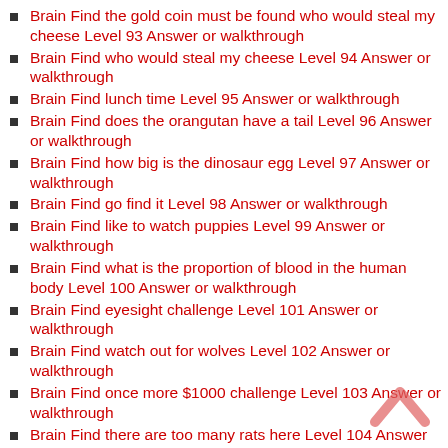Brain Find the gold coin must be found who would steal my cheese Level 93 Answer or walkthrough
Brain Find who would steal my cheese Level 94 Answer or walkthrough
Brain Find lunch time Level 95 Answer or walkthrough
Brain Find does the orangutan have a tail Level 96 Answer or walkthrough
Brain Find how big is the dinosaur egg Level 97 Answer or walkthrough
Brain Find go find it Level 98 Answer or walkthrough
Brain Find like to watch puppies Level 99 Answer or walkthrough
Brain Find what is the proportion of blood in the human body Level 100 Answer or walkthrough
Brain Find eyesight challenge Level 101 Answer or walkthrough
Brain Find watch out for wolves Level 102 Answer or walkthrough
Brain Find once more $1000 challenge Level 103 Answer or walkthrough
Brain Find there are too many rats here Level 104 Answer or walkthrough